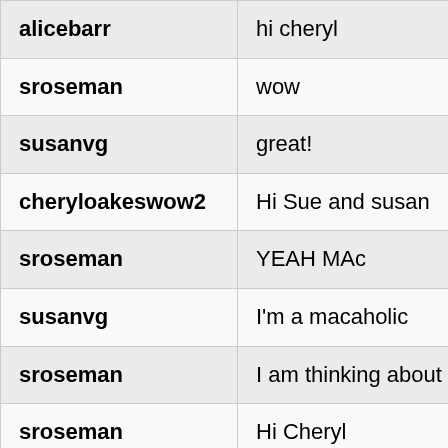| username | message |
| --- | --- |
| alicebarr | hi cheryl |
| sroseman | wow |
| susanvg | great! |
| cheryloakeswow2 | Hi Sue and susan |
| sroseman | YEAH MAc |
| susanvg | I'm a macaholic |
| sroseman | I am thinking about goin… |
| sroseman | Hi Cheryl |
| sendkathy | oooh you figured it out Je… |
| cheryloakeswow2 | Atlanta will be a hoot |
| cheryloakeswow2 | Jen will paste skypecast i… |